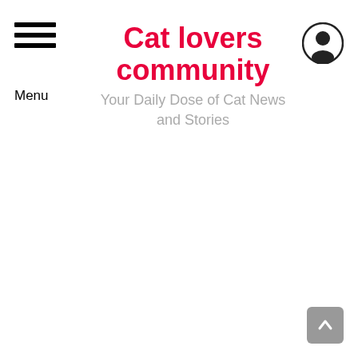Cat lovers community — Your Daily Dose of Cat News and Stories
[Figure (illustration): Scroll to top button with upward arrow in bottom-right corner]